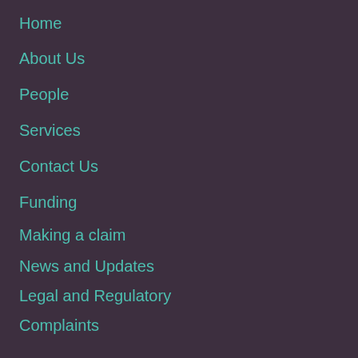Home
About Us
People
Services
Contact Us
Funding
Making a claim
News and Updates
Legal and Regulatory
Complaints
CONTACT US
Email